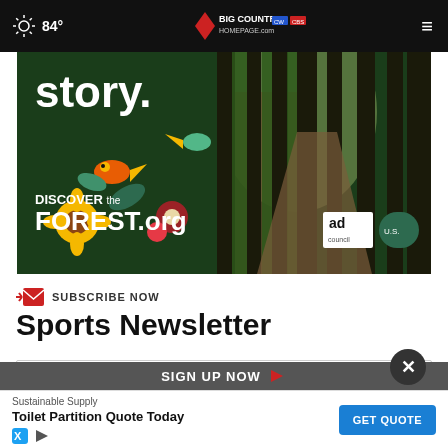84° Big Country Homepage
[Figure (photo): Discover the Forest.org advertisement showing a forest path with colorful folk-art birds and flowers, ad council and US Forest Service logos]
SUBSCRIBE NOW
Sports Newsletter
Your email
[Figure (infographic): Bottom ad: Sustainable Supply - Toilet Partition Quote Today - GET QUOTE button]
SIGN UP NOW